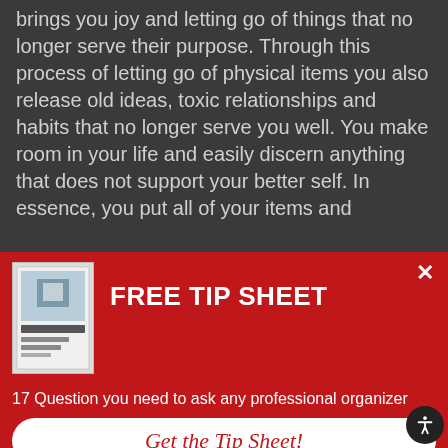brings you joy and letting go of things that no longer serve their purpose. Through this process of letting go of physical items you also release old ideas, toxic relationships and habits that no longer serve you well. You make room in your life and easily discern anything that does not support your better self. In essence, you put all of your items and
[Figure (other): Red popup banner with a book cover image on the left, FREE TIP SHEET title text, subtitle '17 Question you need to ask any professional organizer', a white CTA button 'Get the Tip Sheet!', and a close X button in the top right corner.]